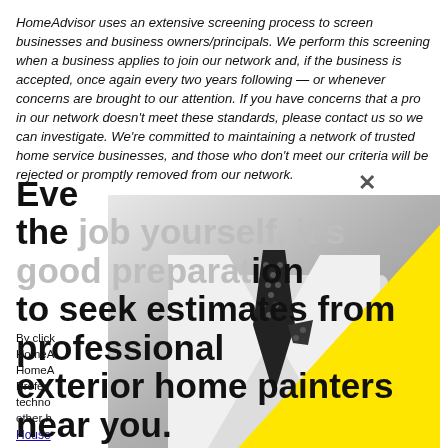HomeAdvisor uses an extensive screening process to screen businesses and business owners/principals. We perform this screening when a business applies to join our network and, if the business is accepted, once again every two years following — or whenever concerns are brought to our attention. If you have concerns that a pro in our network doesn't meet these standards, please contact us so we can investigate. We're committed to maintaining a network of trusted home service businesses, and those who don't meet our criteria will be rejected or promptly removed from our network.
By clicking Submit, you affirm you have read and agree to the HomeAdvisor Terms & Conditions, and that HomeAdvisor or its affiliates may contact you. HomeAdvisor's Marketplace Standards require all Professionals to obtain all required technology-related licenses, as needed, to properly protect and other home...
Housekeeping...
[Figure (photo): Black and white photo of a man in a white suit with a polka-dot tie and pocket square, overlaid with a large bright yellow triangle shape in the lower right portion.]
Even if you plan to do the job yourself, it's good preparation to seek estimates from professional exterior home painters near you.